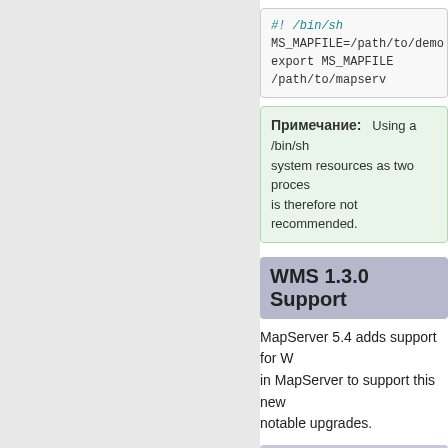#! /bin/sh
MS_MAPFILE=/path/to/demo...
export MS_MAPFILE
/path/to/mapserv
Примечание: Using a /bin/sh... system resources as two processes... is therefore not recommended.
WMS 1.3.0 Support
MapServer 5.4 adds support for W... in MapServer to support this new... notable upgrades.
Major features related to th...
Support WMS 1.3.0 basic... GetFeatureInfo.
Implement the Styled Laye...